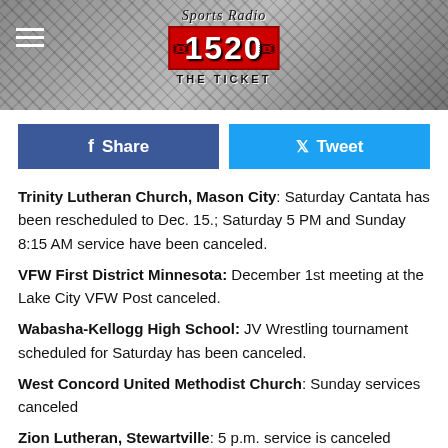[Figure (logo): Sports Radio 1520 The Ticket logo with diamond-pattern background and hamburger menu icon]
Share
Tweet
Trinity Lutheran Church, Mason City: Saturday Cantata has been rescheduled to Dec. 15.; Saturday 5 PM and Sunday 8:15 AM service have been canceled.
VFW First District Minnesota: December 1st meeting at the Lake City VFW Post canceled.
Wabasha-Kellogg High School: JV Wrestling tournament scheduled for Saturday has been canceled.
West Concord United Methodist Church: Sunday services canceled
Zion Lutheran, Stewartville: 5 p.m. service is canceled today
Zumbro Valley Sweet Adelines: Season of Joy show at Faith